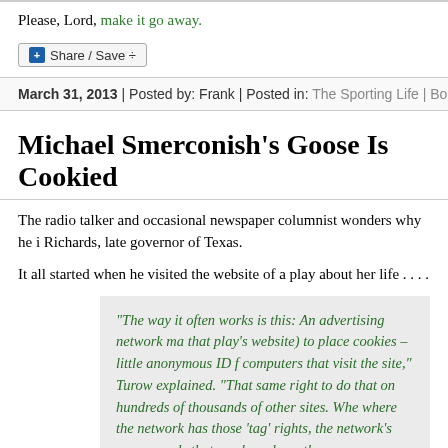Please, Lord, make it go away.
Share / Save
March 31, 2013 | Posted by: Frank | Posted in: The Sporting Life | Bo...
Michael Smerconish’s Goose Is Cookied
The radio talker and occasional newspaper columnist wonders why he i... Richards, late governor of Texas.
It all started when he visited the website of a play about her life . . . .
“The way it often works is this: An advertising network ma... that play’s website) to place cookies – little anonymous ID f... computers that visit the site,” Turow explained. “That same... right to do that on hundreds of thousands of other sites. Whe... where the network has those ‘tag’ rights, the network’s com... records that you have been there.